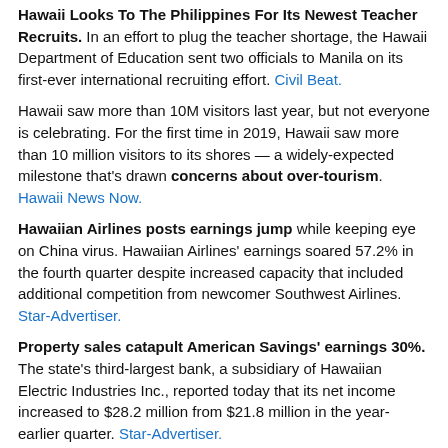Hawaii Looks To The Philippines For Its Newest Teacher Recruits. In an effort to plug the teacher shortage, the Hawaii Department of Education sent two officials to Manila on its first-ever international recruiting effort. Civil Beat.
Hawaii saw more than 10M visitors last year, but not everyone is celebrating. For the first time in 2019, Hawaii saw more than 10 million visitors to its shores — a widely-expected milestone that's drawn concerns about over-tourism. Hawaii News Now.
Hawaiian Airlines posts earnings jump while keeping eye on China virus. Hawaiian Airlines' earnings soared 57.2% in the fourth quarter despite increased capacity that included additional competition from newcomer Southwest Airlines. Star-Advertiser.
Property sales catapult American Savings' earnings 30%. The state's third-largest bank, a subsidiary of Hawaiian Electric Industries Inc., reported today that its net income increased to $28.2 million from $21.8 million in the year-earlier quarter. Star-Advertiser.